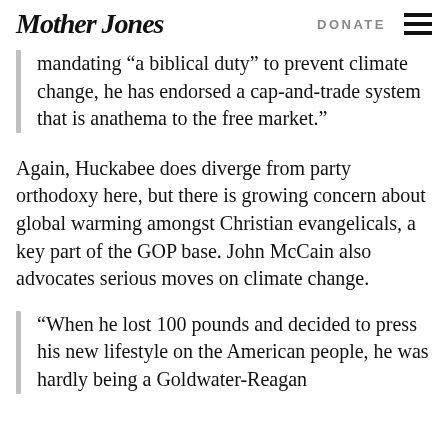Mother Jones | DONATE
mandating “a biblical duty” to prevent climate change, he has endorsed a cap-and-trade system that is anathema to the free market.”
Again, Huckabee does diverge from party orthodoxy here, but there is growing concern about global warming amongst Christian evangelicals, a key part of the GOP base. John McCain also advocates serious moves on climate change.
“When he lost 100 pounds and decided to press his new lifestyle on the American people, he was hardly being a Goldwater-Reagan